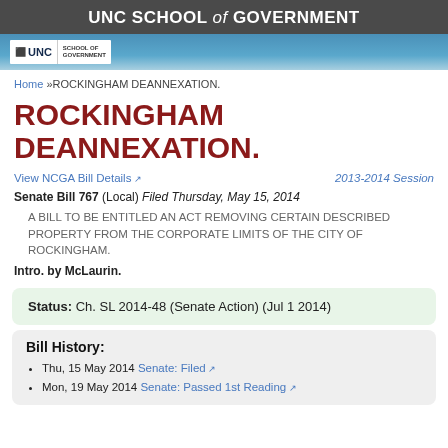UNC SCHOOL of GOVERNMENT
[Figure (logo): UNC School of Government logo on blue banner]
Home »ROCKINGHAM DEANNEXATION.
ROCKINGHAM DEANNEXATION.
View NCGA Bill Details   2013-2014 Session
Senate Bill 767 (Local) Filed Thursday, May 15, 2014
A BILL TO BE ENTITLED AN ACT REMOVING CERTAIN DESCRIBED PROPERTY FROM THE CORPORATE LIMITS OF THE CITY OF ROCKINGHAM.
Intro. by McLaurin.
Status: Ch. SL 2014-48 (Senate Action) (Jul 1 2014)
Bill History:
Thu, 15 May 2014 Senate: Filed
Mon, 19 May 2014 Senate: Passed 1st Reading